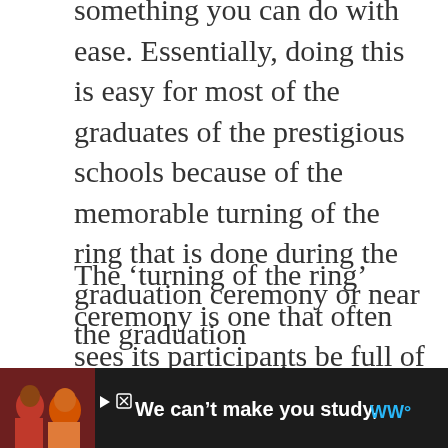something you can do with ease. Essentially, doing this is easy for most of the graduates of the prestigious schools because of the memorable turning of the ring that is done during the graduation ceremony or near the graduation commencement time.
The 'turning of the ring' ceremony is one that often sees its participants be full of pride and/or of their accomplishments. But it's important to note that there is no one way of doing this ceremony. Different schools may feature varying traditions, but the turning of the ring ceremony always symbolizes a change or shift in your life, often an indicator that you've graduated, and
[Figure (other): Advertisement banner at bottom: dark background with image of two people on left, text 'We can't make you study,' in white, and a logo on the right. Play/close controls visible.]